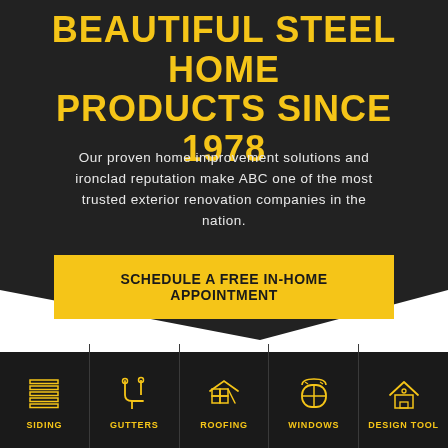BEAUTIFUL STEEL HOME PRODUCTS SINCE 1978
Our proven home improvement solutions and ironclad reputation make ABC one of the most trusted exterior renovation companies in the nation.
SCHEDULE A FREE IN-HOME APPOINTMENT
[Figure (infographic): Bottom navigation bar with five gold icons on dark background: Siding (horizontal slats icon), Gutters (gutter tool icon), Roofing (brick/roof icon), Windows (window frame icon), Design Tool (house icon)]
SIDING
GUTTERS
ROOFING
WINDOWS
DESIGN TOOL